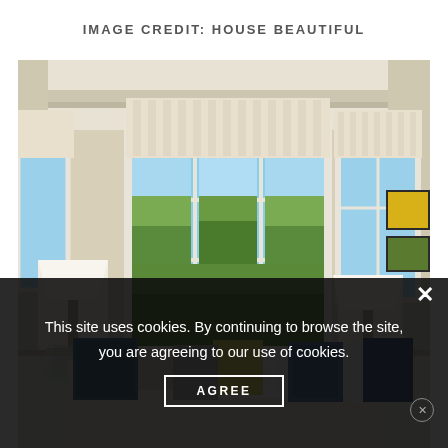IMAGE CREDIT: HOUSE BEAUTIFUL
[Figure (photo): Bright coastal living room with large windows, roman blinds, lamps, and colorful throw pillows on a sofa]
This site uses cookies. By continuing to browse the site, you are agreeing to our use of cookies.
AGREE